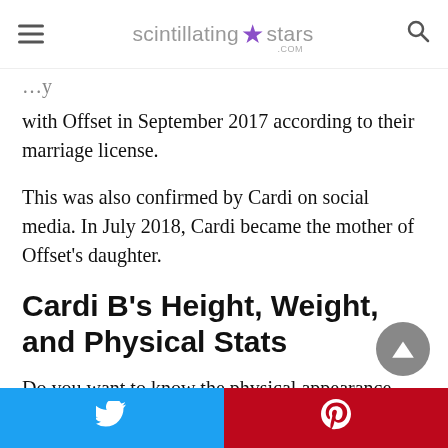scintillating★stars.com
with Offset in September 2017 according to their marriage license.
This was also confirmed by Cardi on social media. In July 2018, Cardi became the mother of Offset's daughter.
Cardi B's Height, Weight, and Physical Stats
Do you want to know the physical appearance,
Twitter | Pinterest